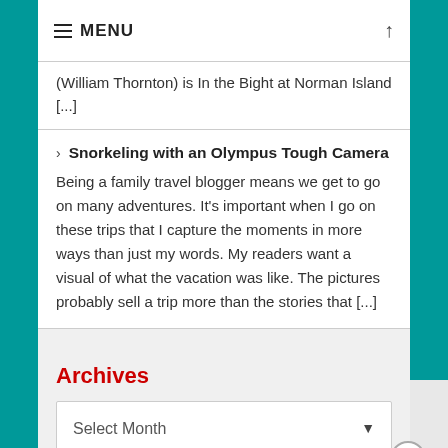≡ MENU
(William Thornton) is In the Bight at Norman Island [...]
Snorkeling with an Olympus Tough Camera
Being a family travel blogger means we get to go on many adventures. It's important when I go on these trips that I capture the moments in more ways than just my words. My readers want a visual of what the vacation was like. The pictures probably sell a trip more than the stories that [...]
Archives
Select Month
Advertisements